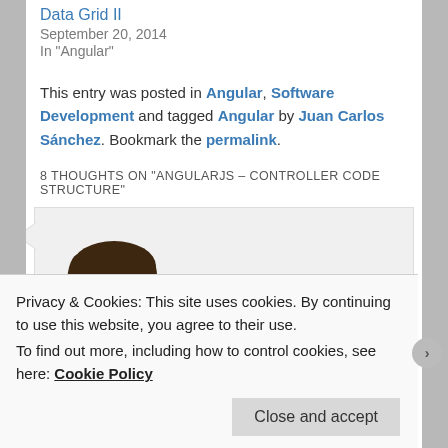Data Grid II
September 20, 2014
In "Angular"
This entry was posted in Angular, Software Development and tagged Angular by Juan Carlos Sánchez. Bookmark the permalink.
8 THOUGHTS ON "ANGULARJS – CONTROLLER CODE STRUCTURE"
[Figure (illustration): Avatar illustration of a man with dark hair and glasses, side profile, wearing a red shirt]
Privacy & Cookies: This site uses cookies. By continuing to use this website, you agree to their use.
To find out more, including how to control cookies, see here: Cookie Policy
Close and accept